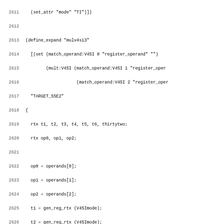Source code listing lines 2611–2642, C/RTL code for mulv4si3 expand function
[Figure (other): Code listing showing lines 2611-2642 of a GCC machine description file implementing mulv4si3 (V4SI vector multiply) using SSE2 instructions]